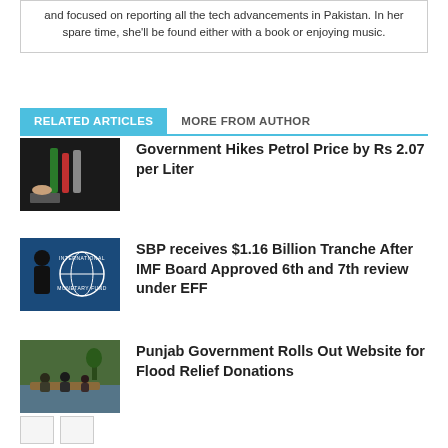and focused on reporting all the tech advancements in Pakistan. In her spare time, she'll be found either with a book or enjoying music.
RELATED ARTICLES	MORE FROM AUTHOR
Government Hikes Petrol Price by Rs 2.07 per Liter
[Figure (photo): Person holding fuel pump nozzle at a petrol station, dark background]
SBP receives $1.16 Billion Tranche After IMF Board Approved 6th and 7th review under EFF
[Figure (photo): Person in front of IMF logo on blue background]
Punjab Government Rolls Out Website for Flood Relief Donations
[Figure (photo): Children in flood water on a makeshift raft]